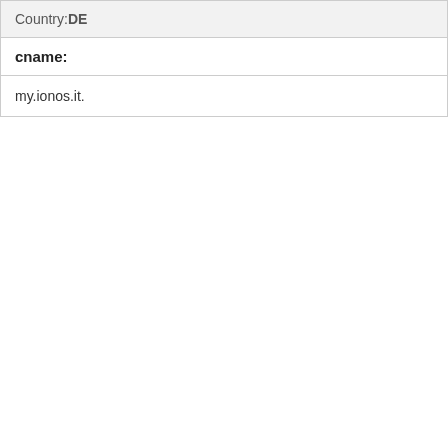Country:DE
cname:
my.ionos.it.